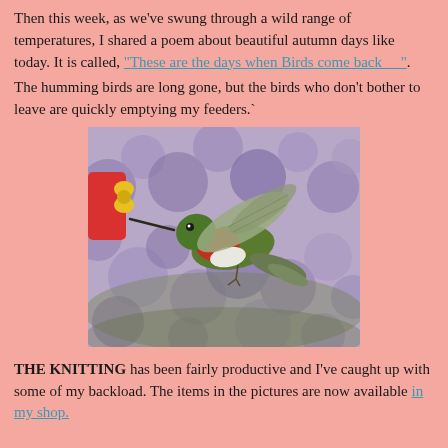Then this week, as we've swung through a wild range of temperatures, I shared a poem about beautiful autumn days like today. It is called, "These are the days when Birds come back __".
The humming birds are long gone, but the birds who don't bother to leave are quickly emptying my feeders.`
[Figure (photo): A ruby-throated hummingbird hovering near a red feeder with yellow flower, with purple blossoms blurred in the background.]
THE KNITTING has been fairly productive and I've caught up with some of my backload. The items in the pictures are now available in my shop.